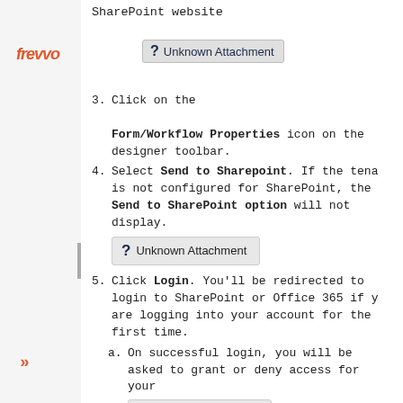[Figure (logo): frevvo logo in italic orange/red text]
SharePoint website
[Figure (other): Unknown Attachment badge at top]
3. Click on the [Unknown Attachment] Ed Form/Workflow Properties icon on the designer toolbar.
4. Select Send to Sharepoint. If the tenant is not configured for SharePoint, the Send to SharePoint option will not display.
[Figure (other): Unknown Attachment badge]
5. Click Login. You'll be redirected to login to SharePoint or Office 365 if you are logging into your account for the first time.
a. On successful login, you will be asked to grant or deny access for your
[Figure (other): Frevvoproduct button]
SharePoint add-in.
[Figure (other): Unknown Attachment badge at bottom]